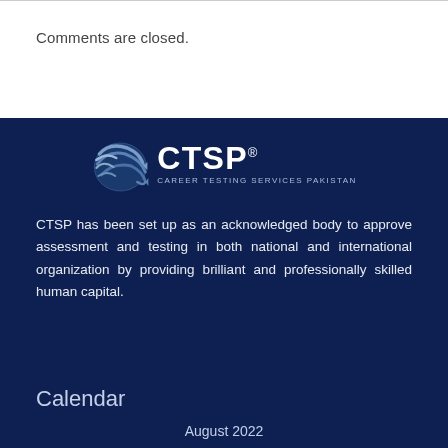Comments are closed.
[Figure (logo): CTSP Career Testing Services Pakistan logo — globe icon with swoosh lines on left, CTSP® in large bold white text, CAREER TESTING SERVICES PAKISTAN in small white caps below]
CTSP has been set up as an acknowledged body to approve assessment and testing in both national and international organization by providing brilliant and professionally skilled human capital.
Calendar
August 2022